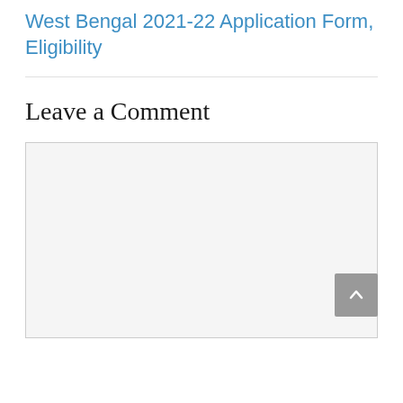West Bengal 2021-22 Application Form, Eligibility
Leave a Comment
[Figure (other): Empty comment text area input box with light gray background and border, with a scroll-to-top button (gray square with upward chevron arrow) overlaid at bottom-right corner]